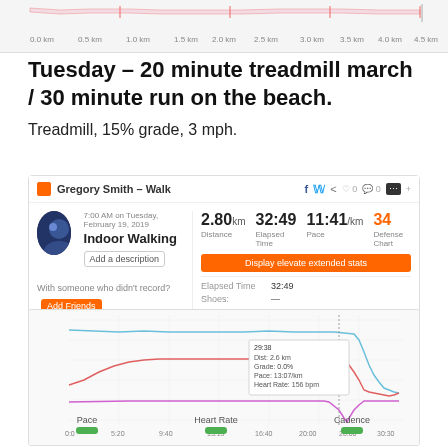[Figure (continuous-plot): Top partial chart showing distance-based activity data with km axis labels (0.0km to 4.5km)]
Tuesday – 20 minute treadmill march / 30 minute run on the beach.
Treadmill, 15% grade, 3 mph.
[Figure (screenshot): Runtastic activity card for Gregory Smith – Walk. Indoor Walking on Tuesday, February 19, 2019 at 7:00 AM. Stats: 2.80km Distance, 32:49 Elapsed Time, 11:41/km Pace, 34 Defense Chart. Button: Display elevate extended stats. Elapsed Time: 32:49. Shoes: —]
[Figure (continuous-plot): Activity line chart showing pace (blue line) and heart rate (red/pink line) over elapsed time. X-axis from 0:00 to 30:00+. Tooltip at ~29:38 shows: Dist: 2.6km, Grade: 0.0%, Pace: 13:07/km, Heart Rate: 156 bpm, Cadence: 104 spm. Pink flat line also visible.]
Pace   Heart Rate   Cadence